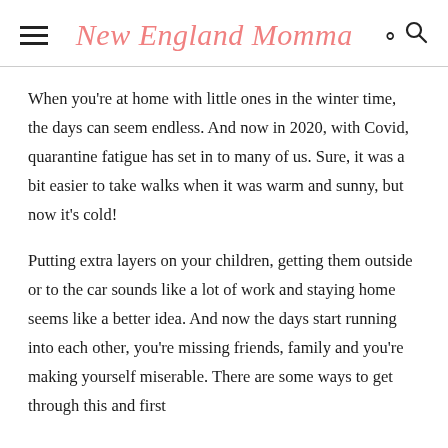New England Momma
When you're at home with little ones in the winter time, the days can seem endless. And now in 2020, with Covid, quarantine fatigue has set in to many of us. Sure, it was a bit easier to take walks when it was warm and sunny, but now it's cold!
Putting extra layers on your children, getting them outside or to the car sounds like a lot of work and staying home seems like a better idea. And now the days start running into each other, you're missing friends, family and you're making yourself miserable. There are some ways to get through this and first